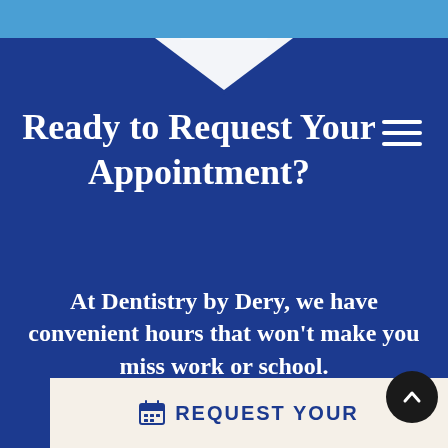[Figure (screenshot): Dark blue dental practice website section with light blue top bar, chevron ribbon decoration, hamburger menu icon, headline text, body text, and a white request appointment button bar at the bottom.]
Ready to Request Your Appointment?
At Dentistry by Dery, we have convenient hours that won't make you miss work or school.
REQUEST YOUR